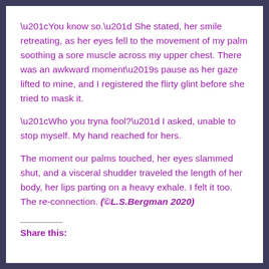“You know so.” She stated, her smile retreating, as her eyes fell to the movement of my palm soothing a sore muscle across my upper chest. There was an awkward moment’s pause as her gaze lifted to mine, and I registered the flirty glint before she tried to mask it.
“Who you tryna fool?” I asked, unable to stop myself. My hand reached for hers.
The moment our palms touched, her eyes slammed shut, and a visceral shudder traveled the length of her body, her lips parting on a heavy exhale. I felt it too. The re-connection. (©L.S.Bergman 2020)
Share this: